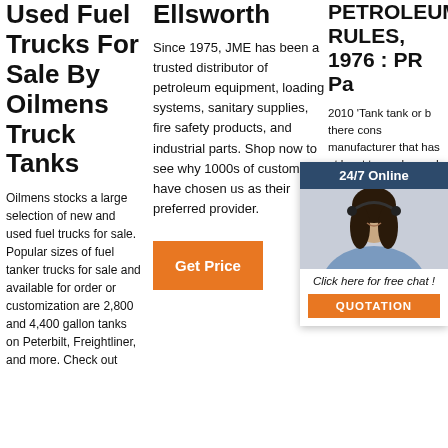Used Fuel Trucks For Sale By Oilmens Truck Tanks
Oilmens stocks a large selection of new and used fuel trucks for sale. Popular sizes of fuel tanker trucks for sale and available for order or customization are 2,800 and 4,400 gallon tanks on Peterbilt, Freightliner, and more. Check out
Ellsworth
Since 1975, JME has been a trusted distributor of petroleum equipment, loading systems, sanitary supplies, fire safety products, and industrial parts. Shop now to see why 1000s of customers have chosen us as their preferred provider.
Get Price
PETROLEUM RULES, 1976 : PR Pa
2010 'Tank tank or b there cons manufacturer that has at least two axles and all its load rests on its own wheels. 'Tank truck' means a single self-propelled vehicle
[Figure (photo): Customer service representative woman wearing a headset, smiling, overlaid with a dark blue header '24/7 Online', a chat CTA 'Click here for free chat!', and an orange 'QUOTATION' button]